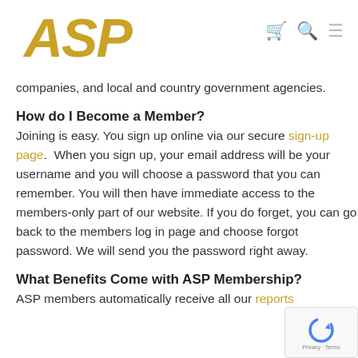ASP
companies, and local and country government agencies.
How do I Become a Member?
Joining is easy. You sign up online via our secure sign-up page.  When you sign up, your email address will be your username and you will choose a password that you can remember. You will then have immediate access to the members-only part of our website. If you do forget, you can go back to the members log in page and choose forgot password. We will send you the password right away.
What Benefits Come with ASP Membership?
ASP members automatically receive all our reports